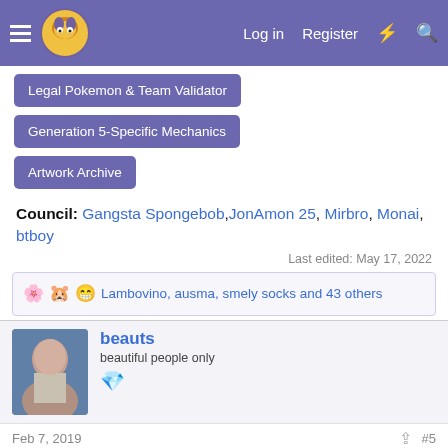Log in  Register
Legal Pokemon & Team Validator
Generation 5-Specific Mechanics
Artwork Archive
Council: Gangsta Spongebob, JonAmon 25, Mirbro, Monai, btboy
Last edited: May 17, 2022
Lambovino, ausma, smely socks and 43 others
beauts
beautiful people only
Feb 7, 2019
#5
Welcome to DPP ZU! The purpose of this is to have a place to